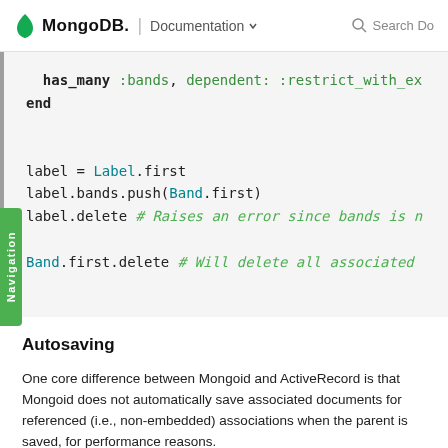MongoDB. | Documentation  Search Do
[Figure (screenshot): Code block showing Ruby/Mongoid code with has_many :bands, dependent: :restrict_with_ex / end / label = Label.first / label.bands.push(Band.first) / label.delete # Raises an error since bands is n / Band.first.delete # Will delete all associated]
Autosaving
One core difference between Mongoid and ActiveRecord is that Mongoid does not automatically save associated documents for referenced (i.e., non-embedded) associations when the parent is saved, for performance reasons.